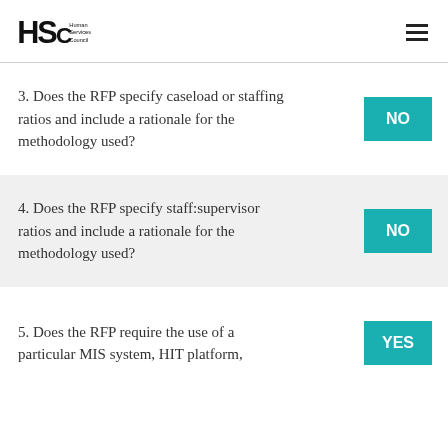HSC Human Services Council
3. Does the RFP specify caseload or staffing ratios and include a rationale for the methodology used? NO
4. Does the RFP specify staff:supervisor ratios and include a rationale for the methodology used? NO
5. Does the RFP require the use of a particular MIS system, HIT platform, YES